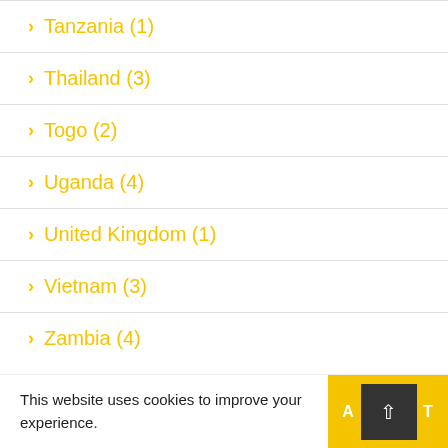Tanzania (1)
Thailand (3)
Togo (2)
Uganda (4)
United Kingdom (1)
Vietnam (3)
Zambia (4)
This website uses cookies to improve your experience.